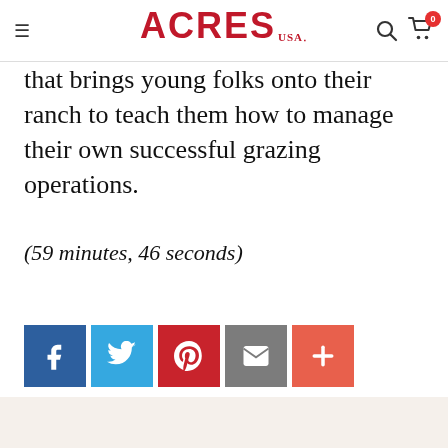ACRES USA
that brings young folks onto their ranch to teach them how to manage their own successful grazing operations.
(59 minutes, 46 seconds)
[Figure (infographic): Social share buttons: Facebook (blue), Twitter (light blue), Pinterest (red), Email (gray), More/Plus (orange-red)]